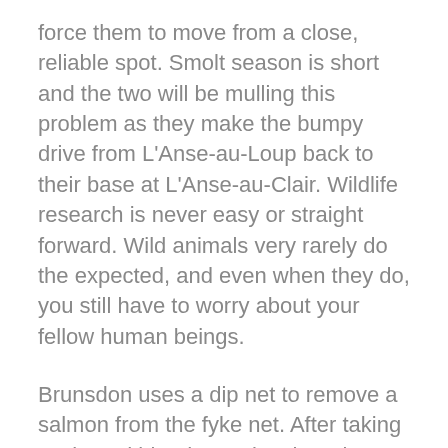force them to move from a close, reliable spot. Smolt season is short and the two will be mulling this problem as they make the bumpy drive from L'Anse-au-Loup back to their base at L'Anse-au-Clair. Wildlife research is never easy or straight forward. Wild animals very rarely do the expected, and even when they do, you still have to worry about your fellow human beings.
Brunsdon uses a dip net to remove a salmon from the fyke net. After taking scale and blood samples, he releases it gently back into the sea. I'd seen them wrestle the net on two occasions and this must have been crushing news. But, a day later I heard from Eric—not a hint of disappointment or pessimism in his voice. He and Heather had moved the net and it was fishing well again. With the smolt run in full swing they